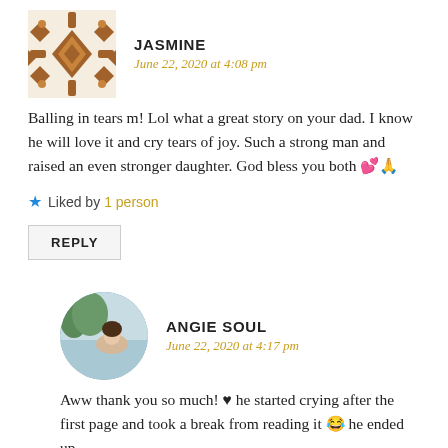[Figure (illustration): Geometric quilted avatar icon for user Jasmine, brown/tan diamond and cross pattern]
JASMINE
June 22, 2020 at 4:08 pm
Balling in tears m! Lol what a great story on your dad. I know he will love it and cry tears of joy. Such a strong man and raised an even stronger daughter. God bless you both 💕🙏
★ Liked by 1 person
REPLY
[Figure (photo): Circular profile photo of Angie Soul, woman sitting outdoors near water]
ANGIE SOUL
June 22, 2020 at 4:17 pm
Aww thank you so much! ♥ he started crying after the first page and took a break from reading it 😂 he ended up